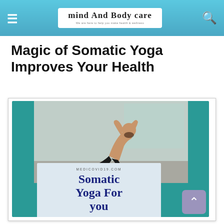mind And Body care
Magic of Somatic Yoga Improves Your Health
[Figure (photo): Yoga practitioner performing a deep backbend somatic yoga pose on a mat, with a card overlay reading 'Somatic Yoga For you' and the label MEDICOVID19.COM, set against a teal background.]